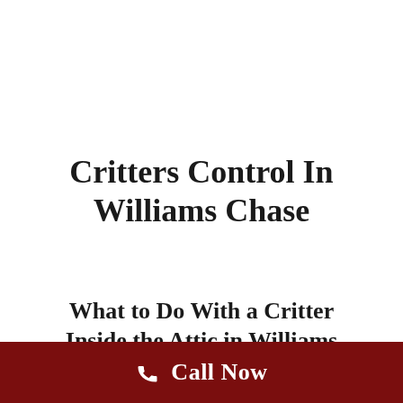Critters Control In Williams Chase
What to Do With a Critter Inside the Attic in Williams
Call Now